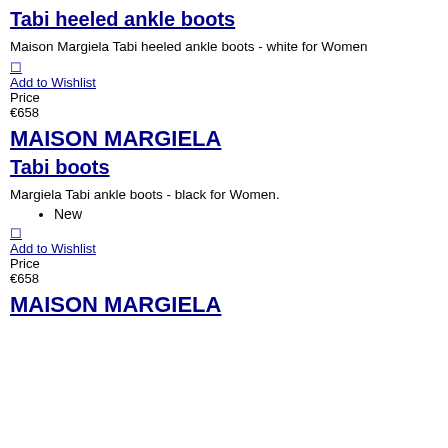Tabi heeled ankle boots
Maison Margiela Tabi heeled ankle boots - white for Women
🔲
Add to Wishlist
Price
€658
MAISON MARGIELA
Tabi boots
Margiela Tabi ankle boots - black for Women.
New
🔲
Add to Wishlist
Price
€658
MAISON MARGIELA